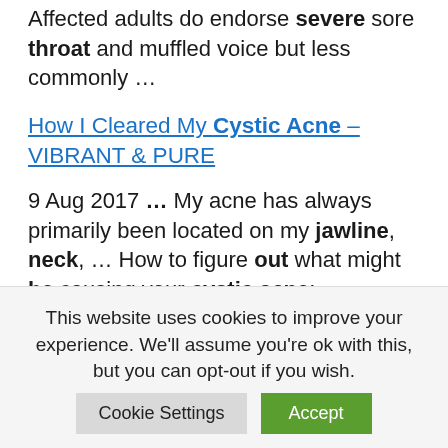Affected adults do endorse severe sore throat and muffled voice but less commonly …
How I Cleared My Cystic Acne – VIBRANT & PURE
9 Aug 2017 … My acne has always primarily been located on my jawline, neck, … How to figure out what might be causing your cystic acne:.
This website uses cookies to improve your experience. We'll assume you're ok with this, but you can opt-out if you wish.